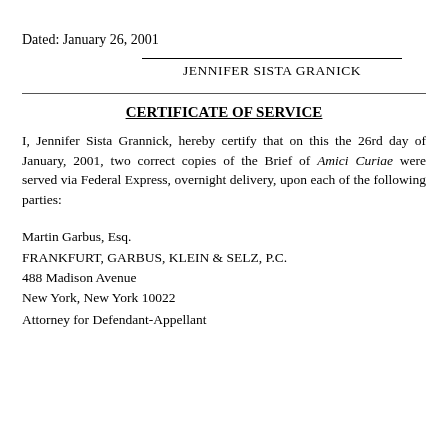Dated: January 26, 2001
JENNIFER SISTA GRANICK
CERTIFICATE OF SERVICE
I, Jennifer Sista Grannick, hereby certify that on this the 26rd day of January, 2001, two correct copies of the Brief of Amici Curiae were served via Federal Express, overnight delivery, upon each of the following parties:
Martin Garbus, Esq.
FRANKFURT, GARBUS, KLEIN & SELZ, P.C.
488 Madison Avenue
New York, New York 10022
Attorney for Defendant-Appellant